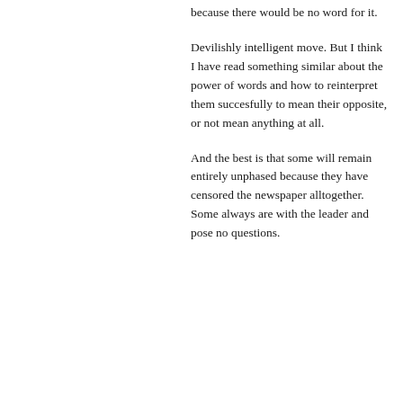because there would be no word for it.
Devilishly intelligent move. But I think I have read something similar about the power of words and how to reinterpret them succesfully to mean their opposite, or not mean anything at all.
And the best is that some will remain entirely unphased because they have censored the newspaper alltogether. Some always are with the leader and pose no questions.